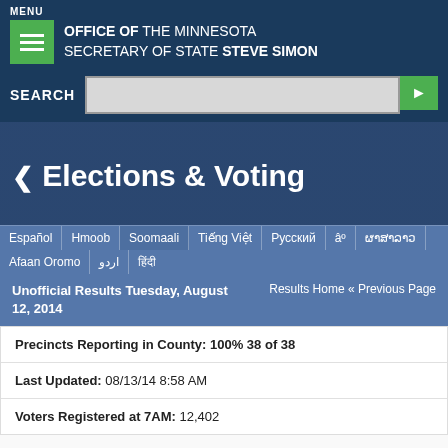MENU
OFFICE OF THE MINNESOTA SECRETARY OF STATE STEVE SIMON
SEARCH
❮ Elections & Voting
Español | Hmoob | Soomaali | Tiếng Việt | Русский | ผาສາລາວ | Afaan Oromo | اردو | हिंदी
Unofficial Results Tuesday, August 12, 2014    Results Home « Previous Page
Precincts Reporting in County: 100%  38 of  38
Last Updated:  08/13/14 8:58 AM
Voters Registered at 7AM:  12,402
Precincts for Hubbard County
|  | Voters Registered at |  |
| --- | --- | --- |